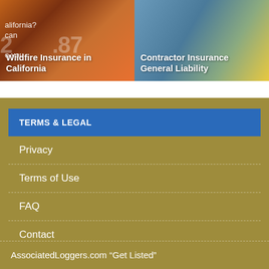[Figure (photo): Firefighter in front of wildfire flames with text overlay 'Wildfire Insurance in California']
Wildfire Insurance in California
[Figure (photo): Construction cranes at a port or construction site with text overlay 'Contractor Insurance General Liability']
Contractor Insurance General Liability
TERMS & LEGAL
Privacy
Terms of Use
FAQ
Contact
Register
MARKETING & ASSOCIATIONS
AssociatedLoggers.com “Get Listed”